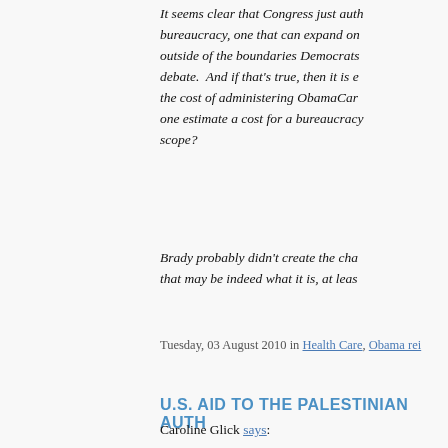It seems clear that Congress just aut bureaucracy, one that can expand on outside of the boundaries Democrats debate.  And if that's true, then it is e the cost of administering ObamaCare one estimate a cost for a bureaucracy scope?
Brady probably didn't create the cha that may be indeed what it is, at leas
Tuesday, 03 August 2010 in Health Care, Obama rei
U.S. AID TO THE PALESTINIAN AUTH
Caroline Glick says:
Watch this amazing video about wha Authority pays for and what it could